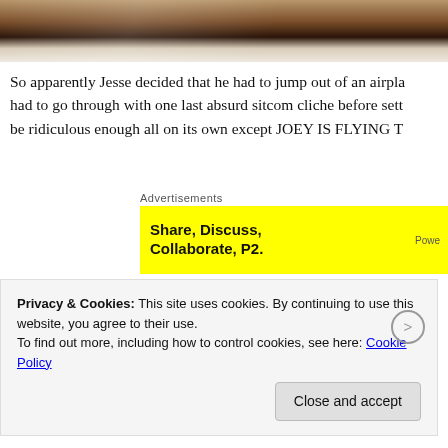[Figure (photo): Partial view of what appears to be a wooden surface or furniture edge, cropped at top of page]
So apparently Jesse decided that he had to jump out of an airpla... had to go through with one last absurd sitcom cliche before sett... be ridiculous enough all on its own except JOEY IS FLYING T...
[Figure (infographic): Yellow advertisement banner with text 'Share, Discuss, Collaborate, P2.' and label 'Advertisements' above it]
What!??! I cannot believe for even one second that Joey can fly...
Privacy & Cookies: This site uses cookies. By continuing to use this website, you agree to their use.
To find out more, including how to control cookies, see here: Cookie Policy
Close and accept